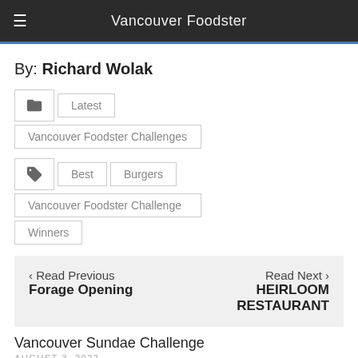Vancouver Foodster
By: Richard Wolak
Latest
Vancouver Foodster Challenges
Best | Burgers
Vancouver Foodster Challenge
Winners
< Read Previous
Forage Opening
Read Next >
HEIRLOOM RESTAURANT
Vancouver Sundae Challenge
AUGUST 3, 2022